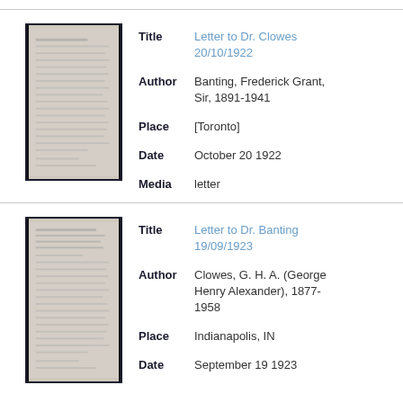[Figure (photo): Thumbnail of a typed letter document, grayscale, with black border]
| Title | Letter to Dr. Clowes 20/10/1922 |
| Author | Banting, Frederick Grant, Sir, 1891-1941 |
| Place | [Toronto] |
| Date | October 20 1922 |
| Media | letter |
[Figure (photo): Thumbnail of a typed letter document, grayscale, with black border]
| Title | Letter to Dr. Banting 19/09/1923 |
| Author | Clowes, G. H. A. (George Henry Alexander), 1877-1958 |
| Place | Indianapolis, IN |
| Date | September 19 1923 |